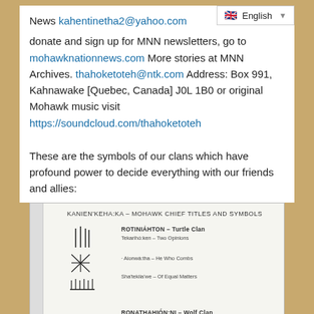News kahentinetha2@yahoo.com donate and sign up for MNN newsletters, go to mohawknationnews.com More stories at MNN Archives. thahoketoteh@ntk.com Address: Box 991, Kahnawake [Quebec, Canada] J0L 1B0 or original Mohawk music visit https://soundcloud.com/thahoketoteh
These are the symbols of our clans which have profound power to decide everything with our friends and allies:
[Figure (illustration): Scanned document showing KANIEN'KEHA:KA - MOHAWK CHIEF TITLES AND SYMBOLS. Left column contains hand-drawn clan symbols. Right column lists: ROTINIAHTON - Turtle Clan, Tekarihó:ken - Two Opinions, Aionwà:tha - He Who Combs, Sha'tekiia'we - Of Equal Matters; RONATHAHIÓN:NI - Wolf Clan, Sharenho:wane - Great Tree Top, Teionnhehkwen - Double Life, Cherenhko:es - Great White Eagle]